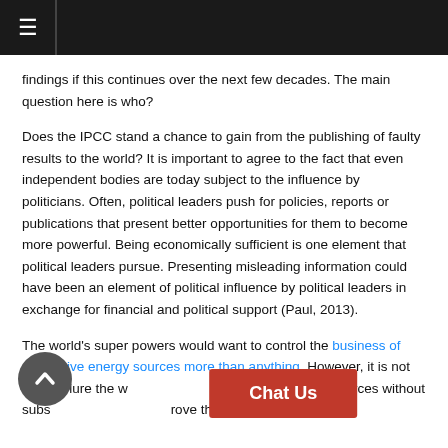≡
findings if this continues over the next few decades. The main question here is who?
Does the IPCC stand a chance to gain from the publishing of faulty results to the world? It is important to agree to the fact that even independent bodies are today subject to the influence by politicians. Often, political leaders push for policies, reports or publications that present better opportunities for them to become more powerful. Being economically sufficient is one element that political leaders pursue. Presenting misleading information could have been an element of political influence by political leaders in exchange for financial and political support (Paul, 2013).
The world's super powers would want to control the business of alternative energy sources more than anything. However, it is not easy to lure the w[...] ative energy sources without subs[...] rove the need to do